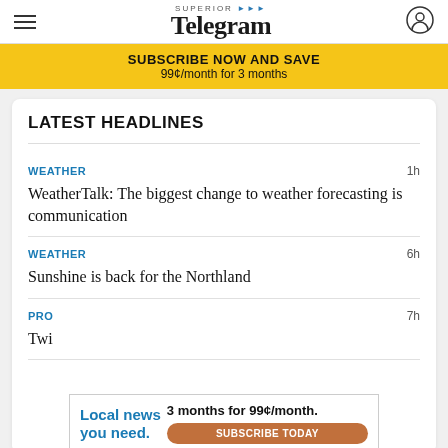Superior Telegram
SUBSCRIBE NOW AND SAVE
99¢/month for 3 months
LATEST HEADLINES
WEATHER · 1h — WeatherTalk: The biggest change to weather forecasting is communication
WEATHER · 6h — Sunshine is back for the Northland
PRO · 7h — Twi...
Local news you need. 3 months for 99¢/month. SUBSCRIBE TODAY